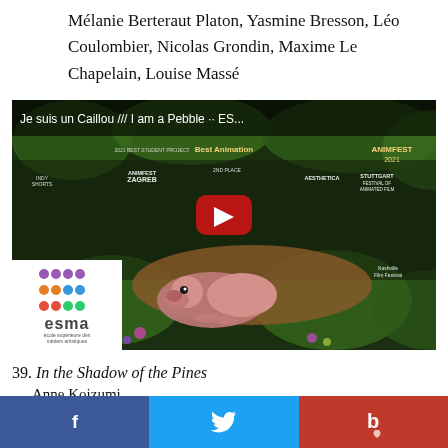Mélanie Berteraut Platon, Yasmine Bresson, Léo Coulombier, Nicolas Grondin, Maxime Le Chapelain, Louise Massé
[Figure (screenshot): YouTube video thumbnail for 'Je suis un Caillou /// I am a Pebble' animated short film by ESMA with multiple festival award badges including Animfest Zagreb, Stuttgart Festival of Animated Film, Nashville Film Festival, Aesthetica Short Film Festival, and others. A pink mole-like animated creature is shown in the lower portion. ESMA logo with colorful dots grid appears in bottom-left corner.]
39. In the Shadow of the Pines
Anne Koizumi